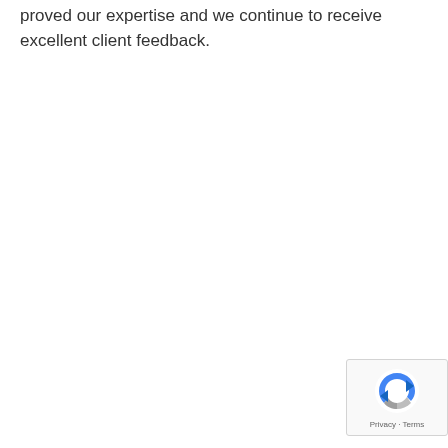proved our expertise and we continue to receive excellent client feedback.
[Figure (other): reCAPTCHA widget showing recycling logo icon with Privacy and Terms links]